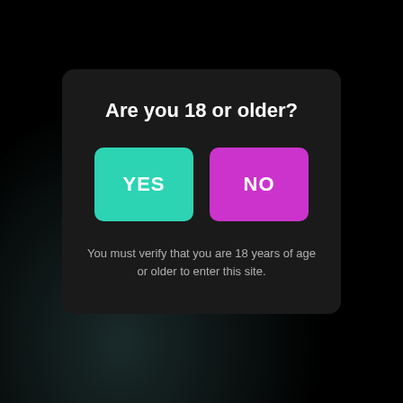Are you 18 or older?
[Figure (screenshot): Two buttons: YES (teal/green) and NO (magenta/pink)]
You must verify that you are 18 years of age or older to enter this site.